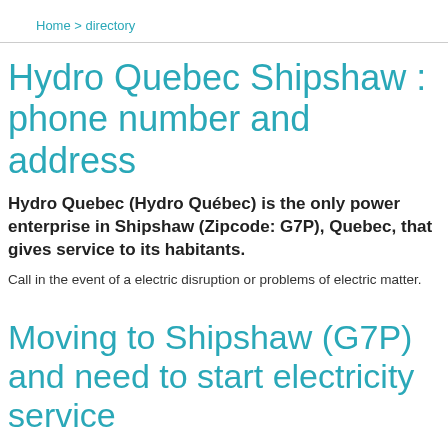Home > directory
Hydro Quebec Shipshaw : phone number and address
Hydro Quebec (Hydro Québec) is the only power enterprise in Shipshaw (Zipcode: G7P), Quebec, that gives service to its habitants.
Call in the event of a electric disruption or problems of electric matter.
Moving to Shipshaw (G7P) and need to start electricity service